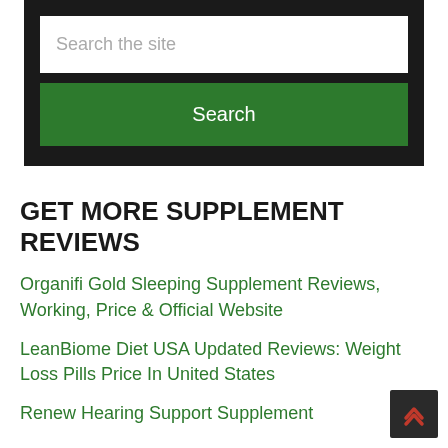[Figure (screenshot): Search widget with dark background, white text input field labeled 'Search the site', and a green Search button below it.]
GET MORE SUPPLEMENT REVIEWS
Organifi Gold Sleeping Supplement Reviews, Working, Price & Official Website
LeanBiome Diet USA Updated Reviews: Weight Loss Pills Price In United States
Renew Hearing Support Supplement